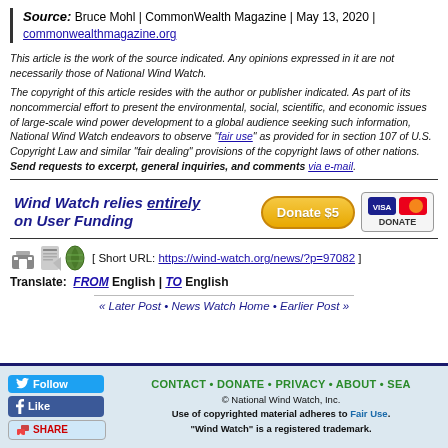Source: Bruce Mohl | CommonWealth Magazine | May 13, 2020 | commonwealthmagazine.org
This article is the work of the source indicated. Any opinions expressed in it are not necessarily those of National Wind Watch.
The copyright of this article resides with the author or publisher indicated. As part of its noncommercial effort to present the environmental, social, scientific, and economic issues of large-scale wind power development to a global audience seeking such information, National Wind Watch endeavors to observe "fair use" as provided for in section 107 of U.S. Copyright Law and similar "fair dealing" provisions of the copyright laws of other nations. Send requests to excerpt, general inquiries, and comments via e-mail.
[Figure (infographic): Wind Watch relies entirely on User Funding - Donate $5 button with Visa/Mastercard logo]
[ Short URL: https://wind-watch.org/news/?p=97082 ]
Translate: FROM English | TO English
« Later Post • News Watch Home • Earlier Post »
CONTACT • DONATE • PRIVACY • ABOUT • SEA... © National Wind Watch, Inc. Use of copyrighted material adheres to Fair Use. "Wind Watch" is a registered trademark.